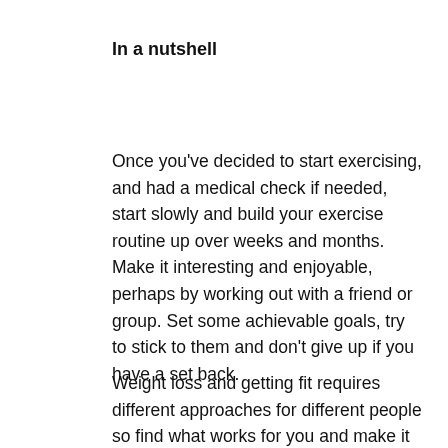In a nutshell
Once you've decided to start exercising, and had a medical check if needed, start slowly and build your exercise routine up over weeks and months. Make it interesting and enjoyable, perhaps by working out with a friend or group. Set some achievable goals, try to stick to them and don't give up if you have a set back.
Weight loss and getting fit requires different approaches for different people so find what works for you and make it part of your lifestyle.